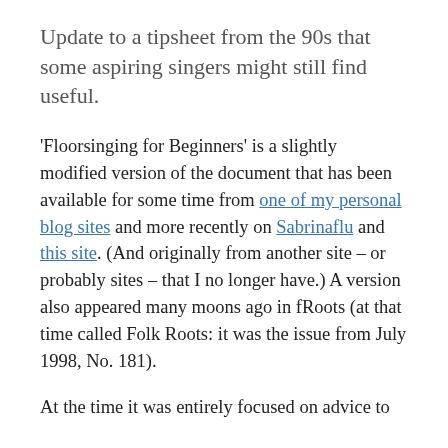Update to a tipsheet from the 90s that some aspiring singers might still find useful.
'Floorsinging for Beginners' is a slightly modified version of the document that has been available for some time from one of my personal blog sites and more recently on Sabrinaflu and this site. (And originally from another site – or probably sites – that I no longer have.) A version also appeared many moons ago in fRoots (at that time called Folk Roots: it was the issue from July 1998, No. 181).
At the time it was entirely focused on advice to